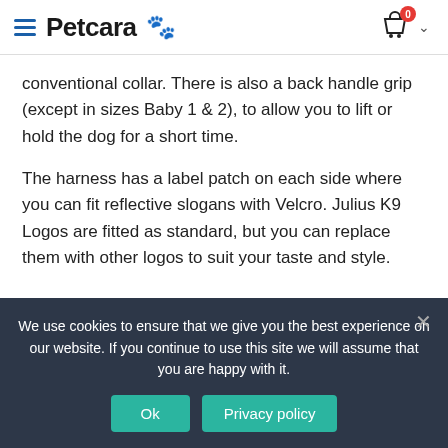Petcara [logo]
conventional collar. There is also a back handle grip (except in sizes Baby 1 & 2), to allow you to lift or hold the dog for a short time.
The harness has a label patch on each side where you can fit reflective slogans with Velcro. Julius K9 Logos are fitted as standard, but you can replace them with other logos to suit your taste and style.
JULIUS-K9 IDC® Power Harness – Block at a glance:
We use cookies to ensure that we give you the best experience on our website. If you continue to use this site we will assume that you are happy with it.